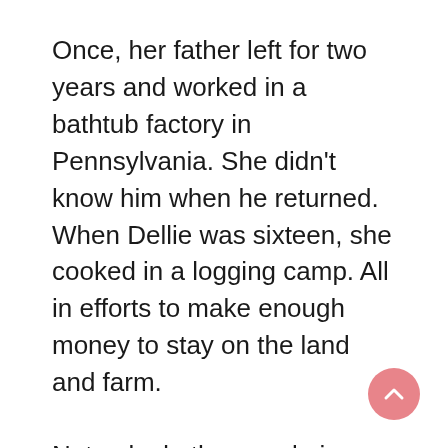Once, her father left for two years and worked in a bathtub factory in Pennsylvania. She didn't know him when he returned. When Dellie was sixteen, she cooked in a logging camp. All in efforts to make enough money to stay on the land and farm.
Not only do the people in Sodom Laurel have a strong sense of place, they continue to have a strong sense of ritual. For me, being raised Catholic, ritual was something I understood. In Madison County, a community's sense of ritual isn't so much interested in end results. It is much more